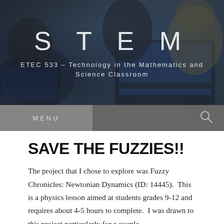[Figure (photo): Hero image showing students working on laptops in a classroom, dark blue-tinted overlay]
STEM
ETEC 533 – Technology in the Mathematics and Science Classroom
MENU
SAVE THE FUZZIES!!
The project that I chose to explore was Fuzzy Chronicles: Newtonian Dynamics (ID: 14445).  This is a physics lesson aimed at students grades 9-12 and requires about 4-5 hours to complete.  I was drawn to this project particularly for a couple